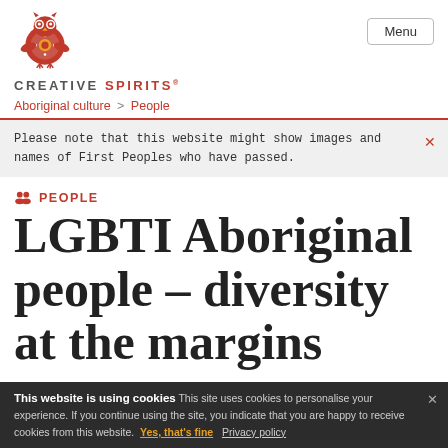[Figure (logo): Creative Spirits owl logo - red and white owl illustration with decorative circular body]
CREATIVE SPIRITS® | Menu
Aboriginal culture > People
Please note that this website might show images and names of First Peoples who have passed.
PEOPLE
LGBTI Aboriginal people – diversity at the margins
This website is using cookies This site uses cookies to personalise your experience. If you continue using the site, you indicate that you are happy to receive cookies from this website. Yes, that's fine Privacy policy